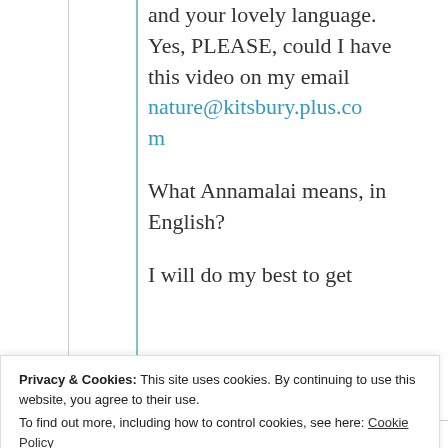and your lovely language. Yes, PLEASE, could I have this video on my email nature@kitsbury.plus.com
What Annamalai means, in English?
I will do my best to get
Privacy & Cookies: This site uses cookies. By continuing to use this website, you agree to their use. To find out more, including how to control cookies, see here: Cookie Policy
My name is Joanna